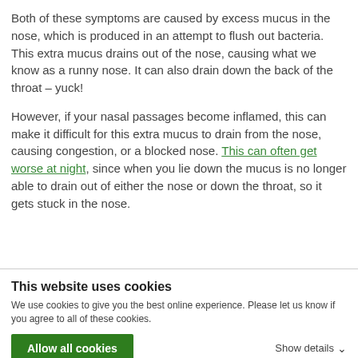Both of these symptoms are caused by excess mucus in the nose, which is produced in an attempt to flush out bacteria. This extra mucus drains out of the nose, causing what we know as a runny nose. It can also drain down the back of the throat – yuck!
However, if your nasal passages become inflamed, this can make it difficult for this extra mucus to drain from the nose, causing congestion, or a blocked nose. This can often get worse at night, since when you lie down the mucus is no longer able to drain out of either the nose or down the throat, so it gets stuck in the nose.
This website uses cookies
We use cookies to give you the best online experience. Please let us know if you agree to all of these cookies.